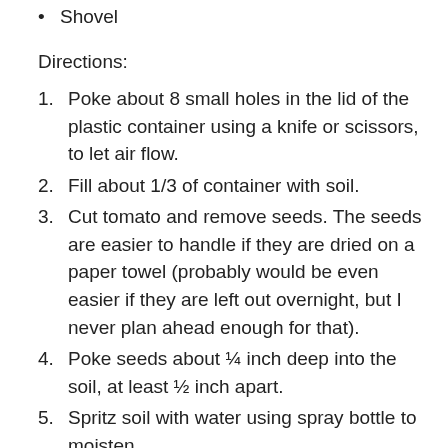Shovel
Directions:
Poke about 8 small holes in the lid of the plastic container using a knife or scissors, to let air flow.
Fill about 1/3 of container with soil.
Cut tomato and remove seeds. The seeds are easier to handle if they are dried on a paper towel (probably would be even easier if they are left out overnight, but I never plan ahead enough for that).
Poke seeds about ¼ inch deep into the soil, at least ½ inch apart.
Spritz soil with water using spray bottle to moisten.
Place in sunny window.
Watch them grow! Keep soil moist by spritzing with